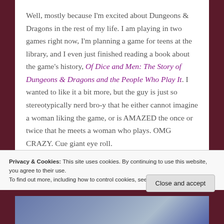Well, mostly because I'm excited about Dungeons & Dragons in the rest of my life. I am playing in two games right now, I'm planning a game for teens at the library, and I even just finished reading a book about the game's history, Of Dice and Men: The Story of Dungeons & Dragons and the People Who Play It. I wanted to like it a bit more, but the guy is just so stereotypically nerd bro-y that he either cannot imagine a woman liking the game, or is AMAZED the once or twice that he meets a woman who plays. OMG CRAZY. Cue giant eye roll.
Privacy & Cookies: This site uses cookies. By continuing to use this website, you agree to their use.
To find out more, including how to control cookies, see here: Cookie Policy
[Figure (photo): Partial photo strip visible at bottom of page, showing what appears to be a person, partially cropped]